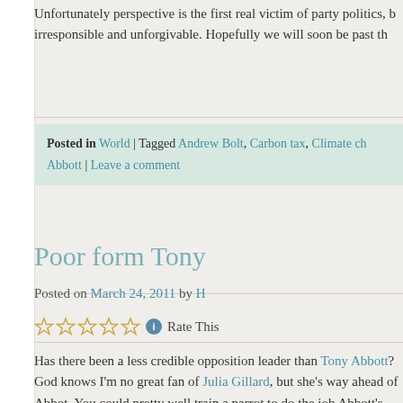Unfortunately perspective is the first real victim of party politics, b... irresponsible and unforgivable. Hopefully we will soon be past th...
Posted in World | Tagged Andrew Bolt, Carbon tax, Climate ch... Abbott | Leave a comment
Poor form Tony
Posted on March 24, 2011 by H
Rate This
Has there been a less credible opposition leader than Tony Abbott? God knows I'm no great fan of Julia Gillard, but she's way ahead of Abbot. You could pretty well train a parrot to do the job Abbott's doing.
Have to seriously question his judgement also.The government may be unpopular, but Gillard is still the preferred PM by quite a margin. The Libs may wake up to the fact one day (though I doubt it), that if they had a reasonable and thoughtful leader they